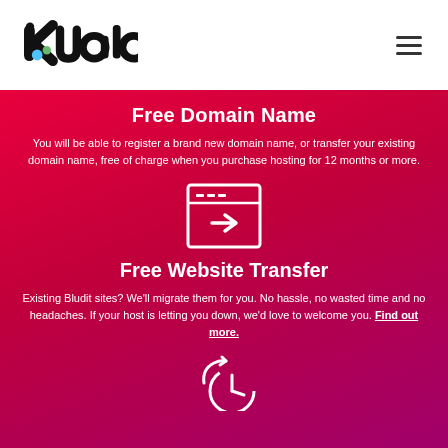[Figure (logo): Kualo logo - stylized wordmark with colorful 'k' letter in black]
[Figure (other): Hamburger menu icon (three horizontal lines)]
Free Domain Name
You will be able to register a brand new domain name, or transfer your existing domain name, free of charge when you purchase hosting for 12 months or more.
[Figure (illustration): Browser window icon with a right arrow inside]
Free Website Transfer
Existing Bludit sites? We'll migrate them for you. No hassle, no wasted time and no headaches. If your host is letting you down, we'd love to welcome you. Find out more.
[Figure (illustration): Clock/time icon with circular arrow (partial, cut off at bottom)]